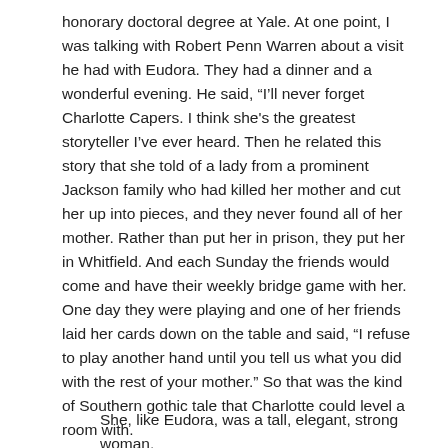honorary doctoral degree at Yale. At one point, I was talking with Robert Penn Warren about a visit he had with Eudora. They had a dinner and a wonderful evening. He said, “I’ll never forget Charlotte Capers. I think she's the greatest storyteller I’ve ever heard. Then he related this story that she told of a lady from a prominent Jackson family who had killed her mother and cut her up into pieces, and they never found all of her mother. Rather than put her in prison, they put her in Whitfield. And each Sunday the friends would come and have their weekly bridge game with her. One day they were playing and one of her friends laid her cards down on the table and said, “I refuse to play another hand until you tell us what you did with the rest of your mother.” So that was the kind of Southern gothic tale that Charlotte could level a room with.
She, like Eudora, was a tall, elegant, strong woman.